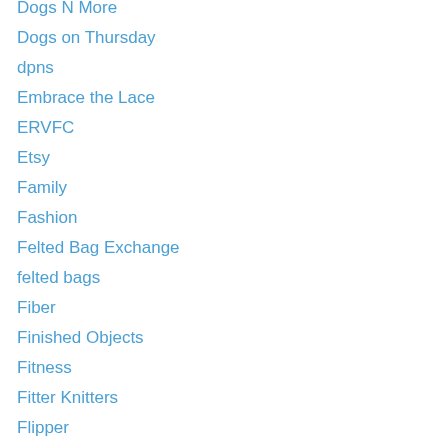Dogs N More
Dogs on Thursday
dpns
Embrace the Lace
ERVFC
Etsy
Family
Fashion
Felted Bag Exchange
felted bags
Fiber
Finished Objects
Fitness
Fitter Knitters
Flipper
Flowers
food
Fred
Friends